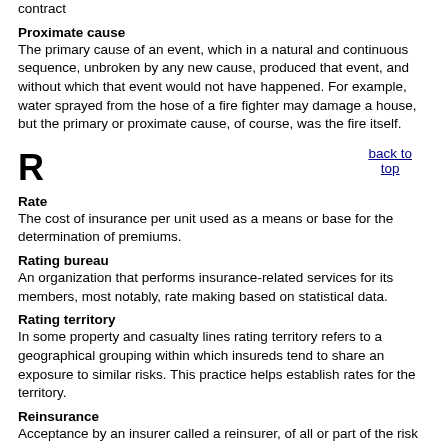contract
Proximate cause
The primary cause of an event, which in a natural and continuous sequence, unbroken by any new cause, produced that event, and without which that event would not have happened. For example, water sprayed from the hose of a fire fighter may damage a house, but the primary or proximate cause, of course, was the fire itself.
R
back to top
Rate
The cost of insurance per unit used as a means or base for the determination of premiums.
Rating bureau
An organization that performs insurance-related services for its members, most notably, rate making based on statistical data.
Rating territory
In some property and casualty lines rating territory refers to a geographical grouping within which insureds tend to share an exposure to similar risks. This practice helps establish rates for the territory.
Reinsurance
Acceptance by an insurer called a reinsurer, of all or part of the risk